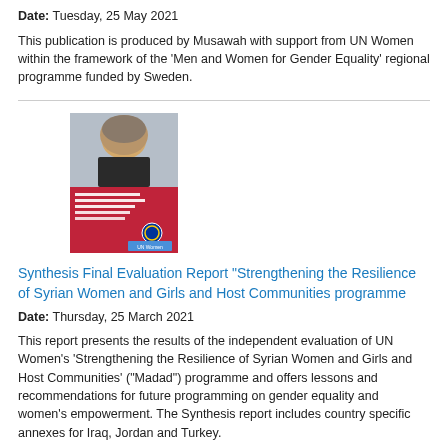Date: Tuesday, 25 May 2021
This publication is produced by Musawah with support from UN Women within the framework of the 'Men and Women for Gender Equality' regional programme funded by Sweden.
[Figure (photo): Book cover image of a report about Syrian Women and Girls, showing a woman in a headscarf on a red and grey cover]
Synthesis Final Evaluation Report "Strengthening the Resilience of Syrian Women and Girls and Host Communities programme
Date: Thursday, 25 March 2021
This report presents the results of the independent evaluation of UN Women's 'Strengthening the Resilience of Syrian Women and Girls and Host Communities' ("Madad") programme and offers lessons and recommendations for future programming on gender equality and women's empowerment. The Synthesis report includes country specific annexes for Iraq, Jordan and Turkey.